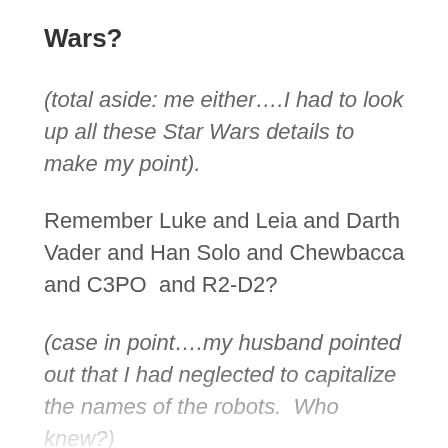Wars?
(total aside:  me either….I had to look up all these Star Wars details to make my point).
Remember Luke and Leia and Darth Vader and Han Solo and Chewbacca and C3PO  and R2-D2?
(case in point….my husband pointed out that I had neglected to capitalize the names of the robots.  Who knew?)
And you cheered them on and watched them fight against the empire and train to be Jedi knights and destroy the enemy and let the force be with them.